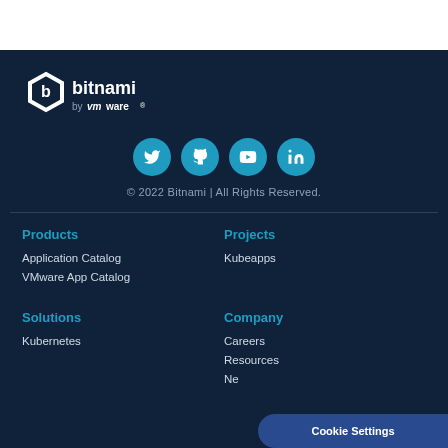[Figure (logo): Bitnami by VMware logo — white hexagon icon with 'b' and text 'bitnami by vmware']
[Figure (infographic): Four circular social media icons (Twitter, GitHub, YouTube, LinkedIn) in teal/cyan color]
© 2022 Bitnami | All Rights Reserved.
Products
Application Catalog
VMware App Catalog
Projects
Kubeapps
Solutions
Kubernetes
Company
Careers
Resources
News
Cookie Settings